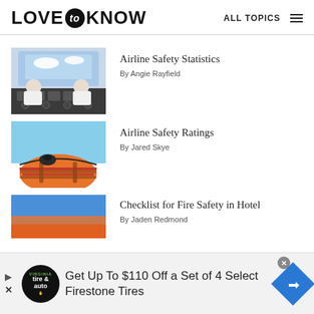LOVE to KNOW — ALL TOPICS
Airline Safety Statistics — By Angie Rayfield
Airline Safety Ratings — By Jared Skye
Checklist for Fire Safety in Hotel — By Jaden Redmond
Get Up To $110 Off a Set of 4 Select Firestone Tires